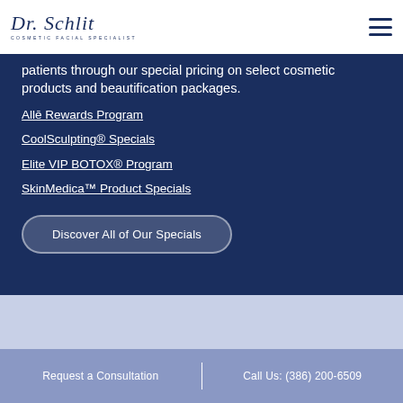Dr. Schlit – Cosmetic Facial Specialist (logo and menu icon)
patients through our special pricing on select cosmetic products and beautification packages.
Allē Rewards Program
CoolSculpting® Specials
Elite VIP BOTOX® Program
SkinMedica™ Product Specials
Discover All of Our Specials
Request a Consultation | Call Us: (386) 200-6509